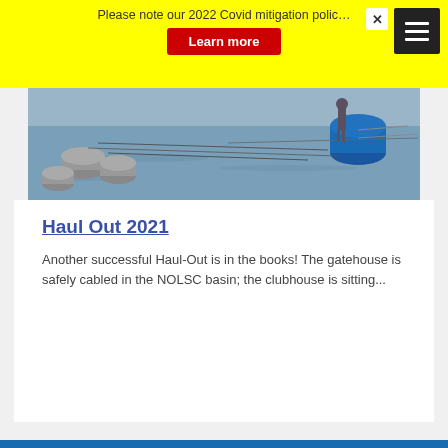Please note our 2022 Covid mitigation polic…
Learn more
[Figure (photo): Photo of floating barrels/buoys and boat structures in a calm water basin, a person standing in the background near the water.]
Haul Out 2021
Another successful Haul-Out is in the books! The gatehouse is safely cabled in the NOLSC basin; the clubhouse is sitting...